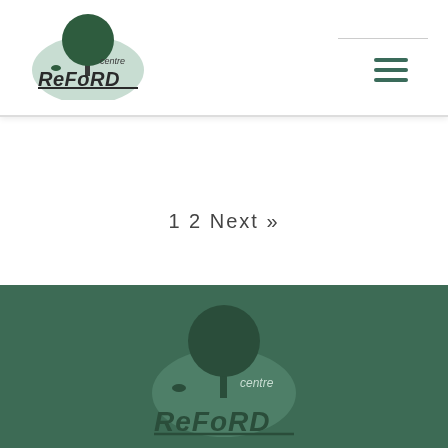[Figure (logo): Centre ReFoRD logo: tree over semi-circle with text 'centre ReFoRD' in dark/teal color, top-left header]
[Figure (other): Hamburger menu icon (three horizontal lines) in dark teal, top-right area]
1 2 Next »
[Figure (logo): Centre ReFoRD logo repeated in footer: tree over semi-circle, all in dark green on dark green background]